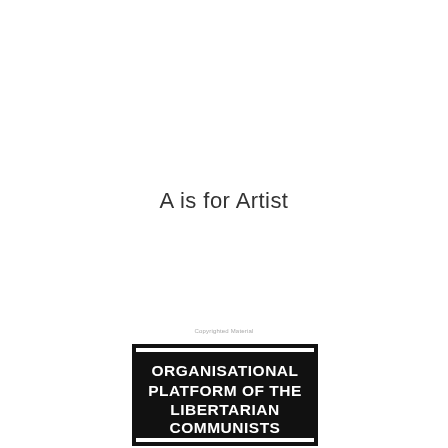A is for Artist
Copyrighted Material
[Figure (illustration): Book cover with black background and white bold text reading: ORGANISATIONAL PLATFORM OF THE LIBERTARIAN COMMUNISTS]